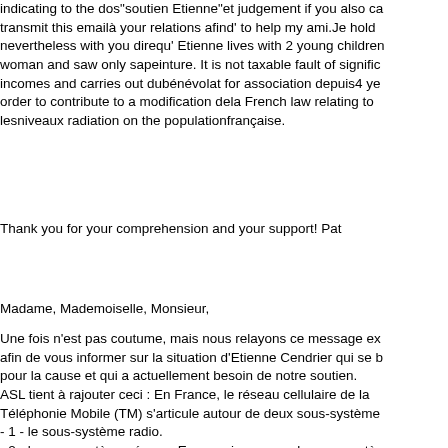indicating to the dos"soutien Etienne"et judgement if you also ca transmit this emailà your relations afind' to help my ami.Je hold nevertheless with you direqu' Etienne lives with 2 young children woman and saw only sapeinture. It is not taxable fault of signific incomes and carries out dubénévolat for association depuis4 ye order to contribute to a modification dela French law relating to lesniveaux radiation on the populationfrançaise.
Thank you for your comprehension and your support! Pat
Madame, Mademoiselle, Monsieur,
Une fois n'est pas coutume, mais nous relayons ce message ex afin de vous informer sur la situation d'Etienne Cendrier qui se b pour la cause et qui a actuellement besoin de notre soutien.
ASL tient à rajouter ceci : En France, le réseau cellulaire de la Téléphonie Mobile (TM) s'articule autour de deux sous-système - 1 - le sous-système radio. - 2 - le sous-système réseau. En ce qui concerne le sous-systèm radio, chaque cellule correspond à une zone précise (territoire) c "couverte" par une Station de Base appelée BTS, (Base Transc Station), celle-ci émettant et recevant tous les signaux. Toutes le sont sous surveillance à distance par un Contrôleur appelé BSC Station Controller). L'ensemble du réseau GSM comporte de nombreux BSC (Contrôleurs), qui commandent une ou plusieurs (Station de Base). Ce BSC (Contrôleur) est donc le responsable toutes les fonctions liées aux transmissions radio, comme le